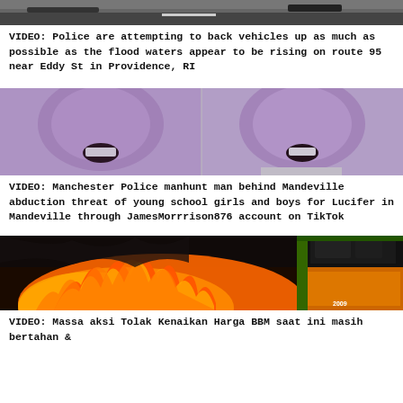[Figure (photo): Top portion of a road/highway flood scene with police vehicles]
VIDEO: Police are attempting to back vehicles up as much as possible as the flood waters appear to be rising on route 95 near Eddy St in Providence, RI
[Figure (photo): Two close-up video stills of a man's face with open mouth, side by side, purple/lavender toned]
VIDEO: Manchester Police manhunt man behind Mandeville abduction threat of young school girls and boys for Lucifer in Mandeville through JamesMorrrison876 account on TikTok
[Figure (photo): Fire and flames with orange/red tones, large machinery visible on right side]
VIDEO: Massa aksi Tolak Kenaikan Harga BBM saat ini masih bertahan &